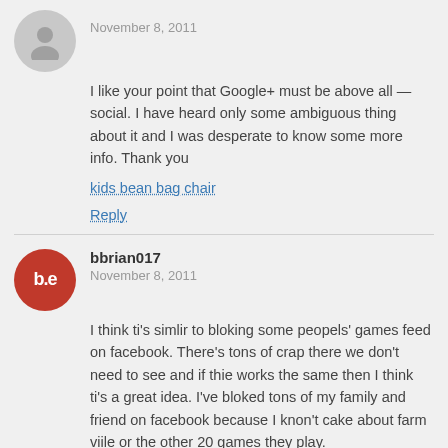November 8, 2011
I like your point that Google+ must be above all — social. I have heard only some ambiguous thing about it and I was desperate to know some more info. Thank you
kids bean bag chair
Reply
bbrian017
November 8, 2011
I think ti's simlir to bloking some peopels' games feed on facebook. There's tons of crap there we don't need to see and if thie works the same then I think ti's a great idea. I've bloked tons of my family and friend on facebook because I knon't cake about farm viile or the other 20 games they play.
Reply